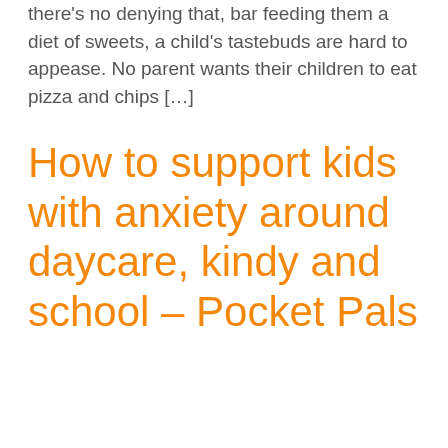there's no denying that, bar feeding them a diet of sweets, a child's tastebuds are hard to appease. No parent wants their children to eat pizza and chips […]
How to support kids with anxiety around daycare, kindy and school – Pocket Pals